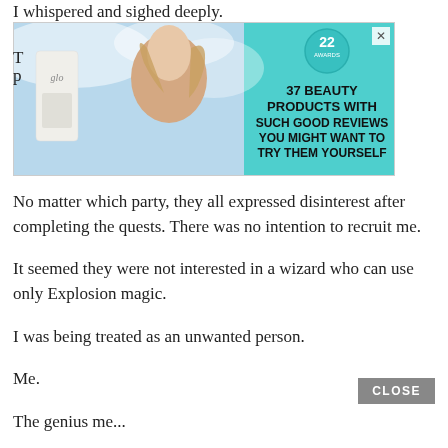I whispered and sighed deeply.
[Figure (photo): Advertisement banner for beauty products featuring a bottle of 'glo' product, a woman with wind-blown hair, and text '22 AWARDS — 37 BEAUTY PRODUCTS WITH SUCH GOOD REVIEWS YOU MIGHT WANT TO TRY THEM YOURSELF' on a teal background with an X close button.]
No matter which party, they all expressed disinterest after completing the quests. There was no intention to recruit me.
It seemed they were not interested in a wizard who can use only Explosion magic.
I was being treated as an unwanted person.
Me.
The genius me...